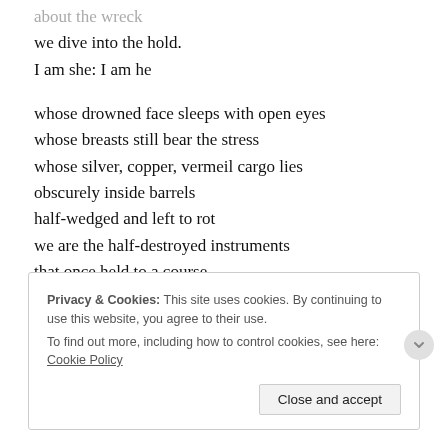about the wreck (truncated/cut off at top)
we dive into the hold.
I am she: I am he
whose drowned face sleeps with open eyes
whose breasts still bear the stress
whose silver, copper, vermeil cargo lies
obscurely inside barrels
half-wedged and left to rot
we are the half-destroyed instruments
that once held to a course
the water-eaten log
the fouled compass
Privacy & Cookies: This site uses cookies. By continuing to use this website, you agree to their use. To find out more, including how to control cookies, see here: Cookie Policy
Close and accept